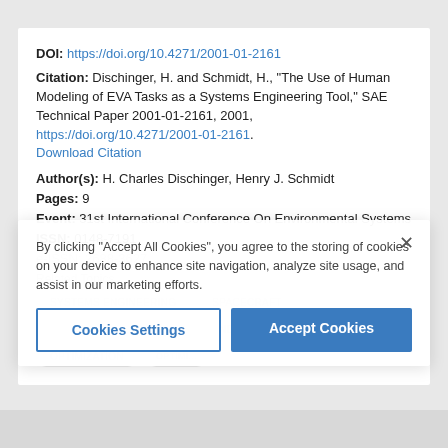DOI: https://doi.org/10.4271/2001-01-2161
Citation: Dischinger, H. and Schmidt, H., "The Use of Human Modeling of EVA Tasks as a Systems Engineering Tool," SAE Technical Paper 2001-01-2161, 2001, https://doi.org/10.4271/2001-01-2161. Download Citation
Author(s): H. Charles Dischinger, Henry J. Schmidt
Pages: 9
Event: 31st International Conference On Environmental Systems
ISSN: 0148-7191
e-ISSN: 2688-3627
Related Topics
By clicking "Accept All Cookies", you agree to the storing of cookies on your device to enhance site navigation, analyze site usage, and assist in our marketing efforts.
Cookies Settings
Accept Cookies